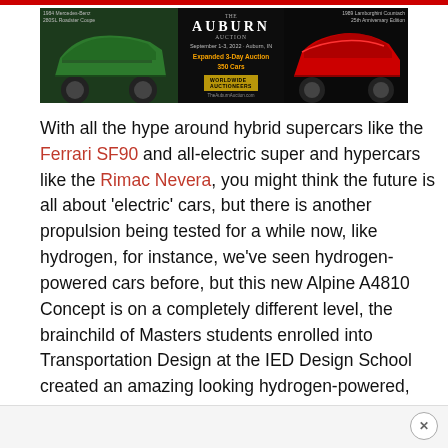[Figure (illustration): Auburn Auction advertisement banner showing a green classic Mercedes-Benz on the left, Auburn Auction text and details in the center on dark background, and a red Lamborghini Countach on the right]
With all the hype around hybrid supercars like the Ferrari SF90 and all-electric super and hypercars like the Rimac Nevera, you might think the future is all about 'electric' cars, but there is another propulsion being tested for a while now, like hydrogen, for instance, we've seen hydrogen-powered cars before, but this new Alpine A4810 Concept is on a completely different level, the brainchild of Masters students enrolled into Transportation Design at the IED Design School created an amazing looking hydrogen-powered, two-seater, supercar to match a brief from the Alpine design team.